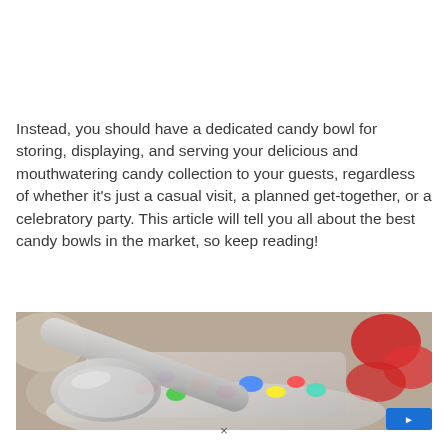Instead, you should have a dedicated candy bowl for storing, displaying, and serving your delicious and mouthwatering candy collection to your guests, regardless of whether it's just a casual visit, a planned get-together, or a celebratory party. This article will tell you all about the best candy bowls in the market, so keep reading!
[Figure (photo): Close-up photo of a glass candy bowl filled with colorful candies, with a metallic scoop/ladle resting inside, and red candies visible in the background.]